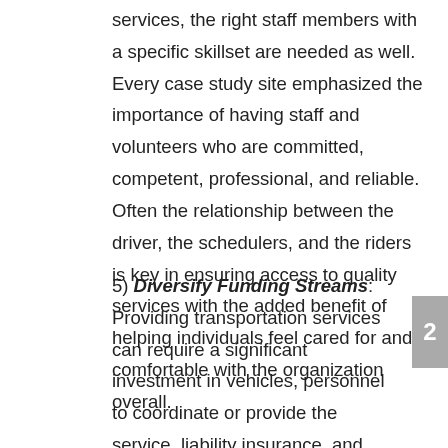services, the right staff members with a specific skillset are needed as well. Every case study site emphasized the importance of having staff and volunteers who are committed, competent, professional, and reliable. Often the relationship between the driver, the schedulers, and the riders is key in ensuring access to quality services with the added benefit of helping individuals feel cared for and comfortable with the organization overall.
5) Diversify Funding Streams: Providing transportation services can require a significant investment in vehicles, personnel to coordinate or provide the service, liability insurance, and maintenance of equipment. For many of the case study sites, the large majority of transportation